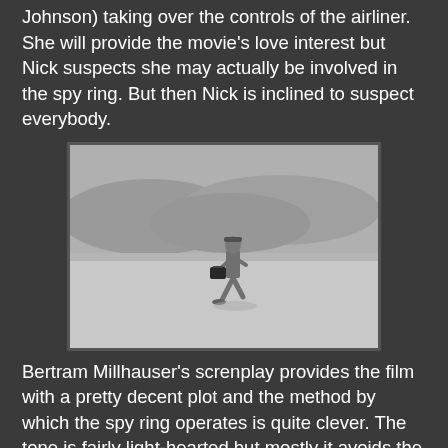which finds him plucky stewardess Lou Fairby (Rita Johnson) taking over the controls of the airliner. She will provide the movie's love interest but Nick suspects she may actually be involved in the spy ring. But then Nick is inclined to suspect everybody.
[Figure (photo): Black and white film still showing a person in uniform walking briskly across a flat, open salt flat or desert landscape, carrying a briefcase, with hills or mountains visible in the background.]
Bertram Millhauser's screnplay provides the film with a pretty decent plot and the method by which the spy ring operates is quite clever. The tone is fairly light-hearted but mostly it avoids the danger of descending into silliness and it stays fairly tightly focused on the espionage plot. The dialogue doesn't always have quite the zest one might have hoped for